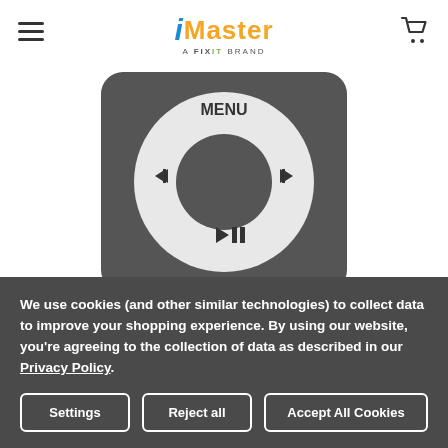[Figure (logo): iMaster logo - a FIXIT brand]
[Figure (photo): iPod Shuffle clickwheel showing MENU text at top, skip-back and skip-forward buttons on sides, and play/pause button at bottom, on dark gray rounded-rectangle background]
We use cookies (and other similar technologies) to collect data to improve your shopping experience. By using our website, you're agreeing to the collection of data as described in our Privacy Policy.
Settings | Reject all | Accept All Cookies